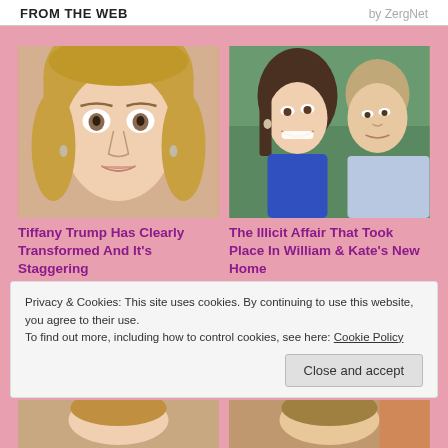FROM THE WEB   by ZergNet
[Figure (photo): Close-up photo of Tiffany Trump, young blonde woman with wide eyes and subtle makeup, looking surprised]
[Figure (photo): Photo of Kate Middleton and Prince William together, Kate smiling and wearing a blue outfit, William looking at her]
Tiffany Trump Has Clearly Transformed And It's Staggering
The Illicit Affair That Took Place In William & Kate's New Home
Privacy & Cookies: This site uses cookies. By continuing to use this website, you agree to their use.
To find out more, including how to control cookies, see here: Cookie Policy
[Figure (photo): Partial photo of a woman at the bottom left]
[Figure (photo): Partial photo of a person at the bottom right]